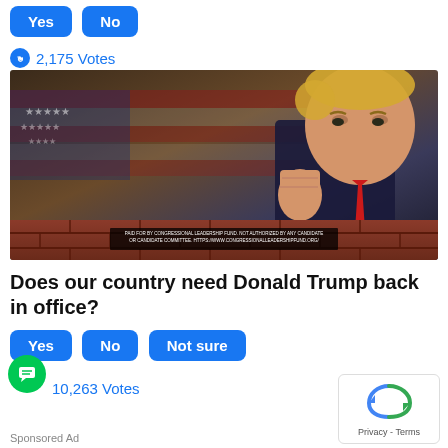Yes  No
2,175 Votes
[Figure (photo): Photo of Donald Trump with fist raised against an American flag background with a brick wall, political ad image]
Does our country need Donald Trump back in office?
Yes  No  Not sure
10,263 Votes
Sponsored Ad